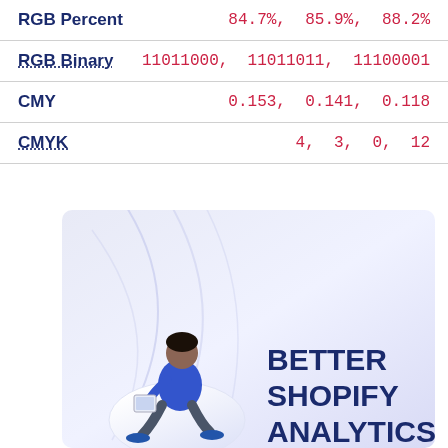| Property | Value |
| --- | --- |
| RGB Percent | 84.7%, 85.9%, 88.2% |
| RGB Binary | 11011000, 11011011, 11100001 |
| CMY | 0.153, 0.141, 0.118 |
| CMYK | 4, 3, 0, 12 |
[Figure (illustration): A person sitting on a white sphere reading a tablet, on a light purple/lavender gradient background with abstract swirl lines. Text reads BETTER SHOPIFY ANALYTICS in dark navy bold.]